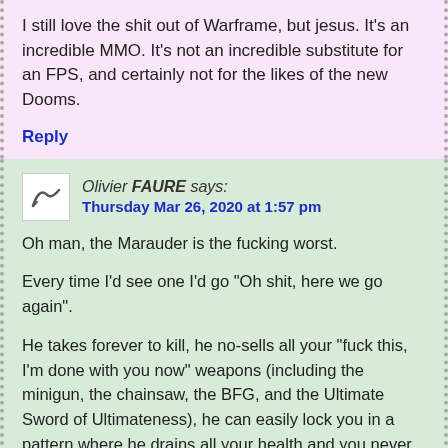I still love the shit out of Warframe, but jesus. It's an incredible MMO. It's not an incredible substitute for an FPS, and certainly not for the likes of the new Dooms.
Reply
Olivier FAURE says: Thursday Mar 26, 2020 at 1:57 pm
Oh man, the Marauder is the fucking worst.
Every time I'd see one I'd go "Oh shit, here we go again".
He takes forever to kill, he no-sells all your "fuck this, I'm done with you now" weapons (including the minigun, the chainsaw, the BFG, and the Ultimate Sword of Ultimateness), he can easily lock you in a pattern where he drains all your health and you never get an opening, and you never really get the chance to just unloads a